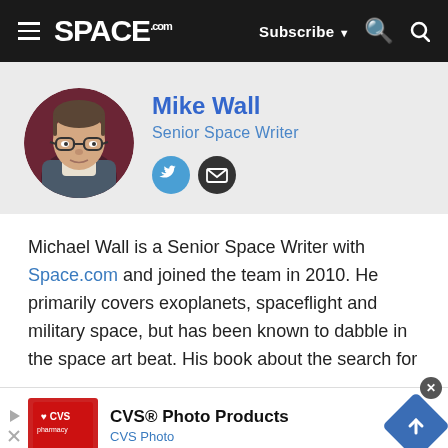SPACE.com | Subscribe | Search
Mike Wall
Senior Space Writer
[Figure (photo): Circular profile photo of Mike Wall]
Michael Wall is a Senior Space Writer with Space.com and joined the team in 2010. He primarily covers exoplanets, spaceflight and military space, but has been known to dabble in the space art beat. His book about the search for
[Figure (other): CVS Pharmacy advertisement banner: CVS® Photo Products, CVS Photo]